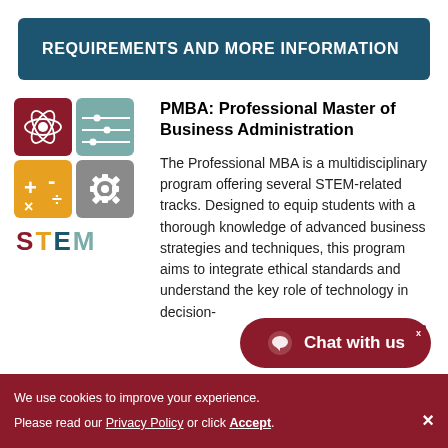REQUIREMENTS AND MORE INFORMATION
[Figure (logo): STEM logo: four-quadrant square with atom (dark red), circuit (teal), math symbols (gold), gear (gray), labeled STEM below]
PMBA: Professional Master of Business Administration
The Professional MBA is a multidisciplinary program offering several STEM-related tracks. Designed to equip students with a thorough knowledge of advanced business strategies and techniques, this program aims to integrate ethical standards and understand the key role of technology in decision-
Chat with us
We use cookies to improve your experience. Please read our Privacy Policy or click Accept.